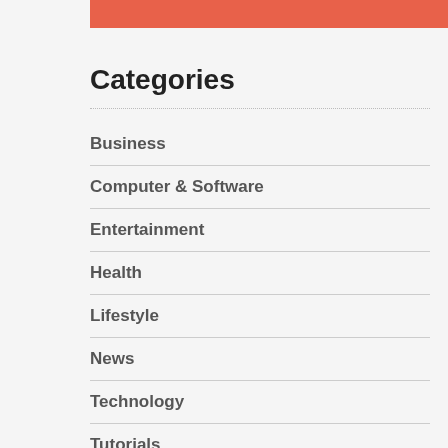[Figure (other): Orange/coral horizontal bar at top of page]
Categories
Business
Computer & Software
Entertainment
Health
Lifestyle
News
Technology
Tutorials
Uncategorized
World